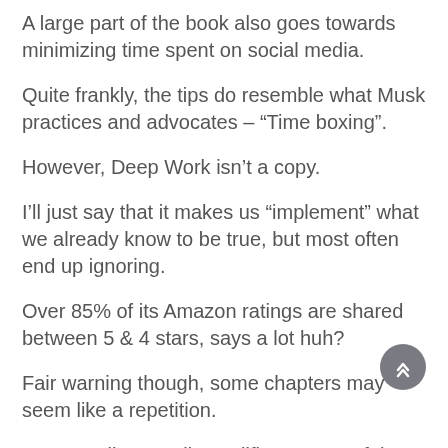A large part of the book also goes towards minimizing time spent on social media.
Quite frankly, the tips do resemble what Musk practices and advocates – "Time boxing".
However, Deep Work isn't a copy.
I'll just say that it makes us "implement" what we already know to be true, but most often end up ignoring.
Over 85% of its Amazon ratings are shared between 5 & 4 stars, says a lot huh?
Fair warning though, some chapters may seem like a repetition.
But overall? It totally qualifies as one of the best books on time management.